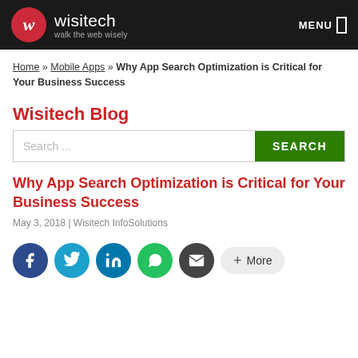wisitech — walk the web wisely | MENU
Home » Mobile Apps » Why App Search Optimization is Critical for Your Business Success
Wisitech Blog
Search ...
Why App Search Optimization is Critical for Your Business Success
May 3, 2018 | Wisitech InfoSolutions
[Figure (other): Social sharing icons: Facebook, Twitter, LinkedIn, WhatsApp, Email, and More button]